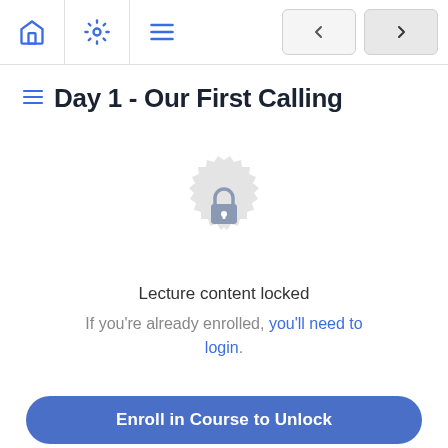Navigation bar with home, settings, menu icons and previous/next buttons
Day 1 - Our First Calling
[Figure (illustration): A grey badge/seal icon with a padlock symbol in the center, indicating locked content]
Lecture content locked
If you're already enrolled, you'll need to login.
Enroll in Course to Unlock